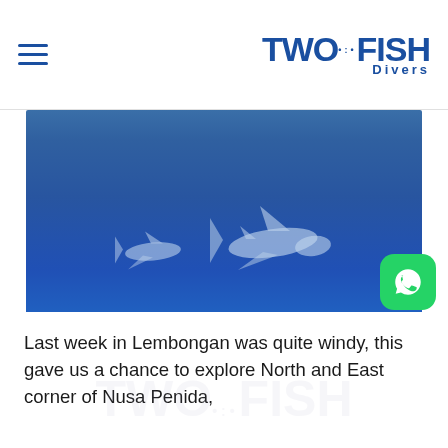TWO FISH Divers
[Figure (photo): Underwater photograph showing two sharks swimming in deep blue water, with the sea floor faintly visible at the bottom.]
Last week in Lembongan was quite windy, this gave us a chance to explore North and East corner of Nusa Penida,